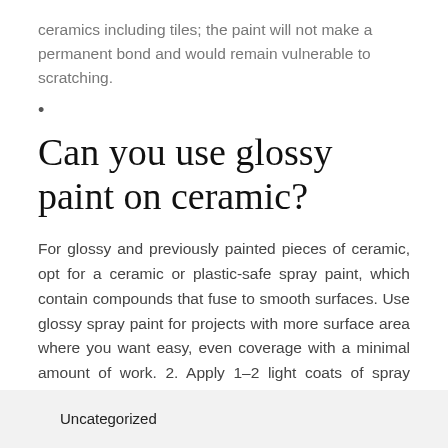ceramics including tiles; the paint will not make a permanent bond and would remain vulnerable to scratching.
•
Can you use glossy paint on ceramic?
For glossy and previously painted pieces of ceramic, opt for a ceramic or plastic-safe spray paint, which contain compounds that fuse to smooth surfaces. Use glossy spray paint for projects with more surface area where you want easy, even coverage with a minimal amount of work. 2. Apply 1–2 light coats of spray primer.
Uncategorized